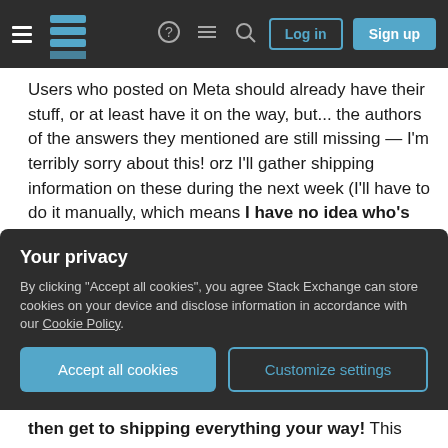Stack Exchange navigation bar with hamburger menu, logo, help icon, chat icon, search icon, Log in button, Sign up button
Users who posted on Meta should already have their stuff, or at least have it on the way, but... the authors of the answers they mentioned are still missing — I'm terribly sorry about this! orz
I'll gather shipping information on these during the next week (I'll have to do it manually, which means I have no idea who's eligible or not off the top of my head, nor do I have all the names indexed yet, so please don't populate the comment section with "am I eligible?" queries), and will get to shipping it as soon as I can!
Your privacy
By clicking "Accept all cookies", you agree Stack Exchange can store cookies on your device and disclose information in accordance with our Cookie Policy.
then get to shipping everything your way! This